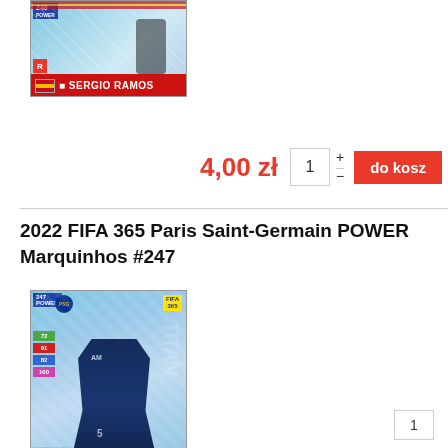[Figure (photo): FIFA 365 trading card for Sergio Ramos #246, POWER card, Spain flag, red bottom bar]
4,00 zł
1
do kosz
2022 FIFA 365 Paris Saint-Germain POWER Marquinhos #247
[Figure (photo): FIFA 365 trading card for Marquinhos #247, POWER card, PSG badge, Brazil flag, navy kit, card number 247 bottom left, red bottom bar, stats on left side: 72 green, 91 red, 82 blue, 100 pink]